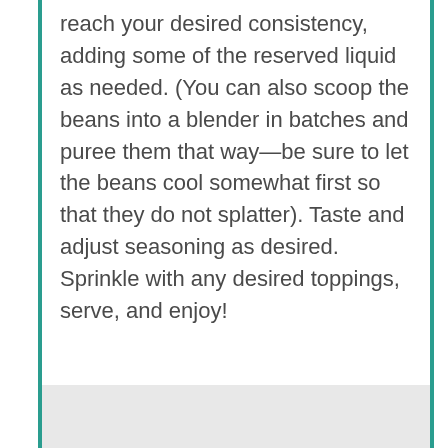reach your desired consistency, adding some of the reserved liquid as needed. (You can also scoop the beans into a blender in batches and puree them that way—be sure to let the beans cool somewhat first so that they do not splatter). Taste and adjust seasoning as desired. Sprinkle with any desired toppings, serve, and enjoy!